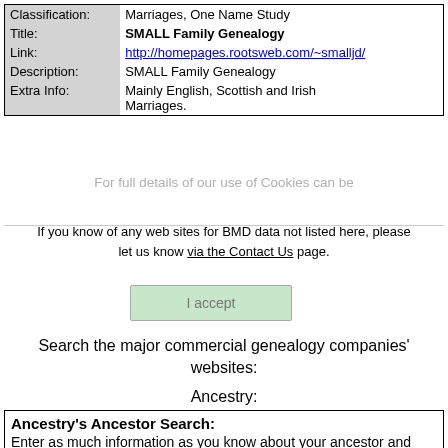| Field | Value |
| --- | --- |
| Classification: | Marriages, One Name Study |
| Title: | SMALL Family Genealogy |
| Link: | http://homepages.rootsweb.com/~smalljd/ |
| Description: | SMALL Family Genealogy |
| Extra Info: | Mainly English, Scottish and Irish Marriages. |
For full details of our use of Cookies can be
If you know of any web sites for BMD data not listed here, please let us know via the Contact Us page.
I accept
Search the major commercial genealogy companies' websites:
Ancestry:
Ancestry's Ancestor Search: Enter as much information as you know about your ancestor and click search: First Name: Last Name: